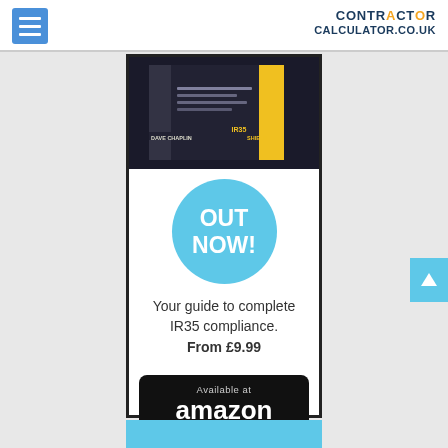CONTRACTOR CALCULATOR.CO.UK
[Figure (illustration): Advertisement panel for 'IR35 Shield' book by Dave Chaplin. Shows book cover image at top, a light blue 'OUT NOW!' circle badge, text 'Your guide to complete IR35 compliance. From £9.99', and an Amazon purchase button with smile logo.]
Your guide to complete IR35 compliance. From £9.99